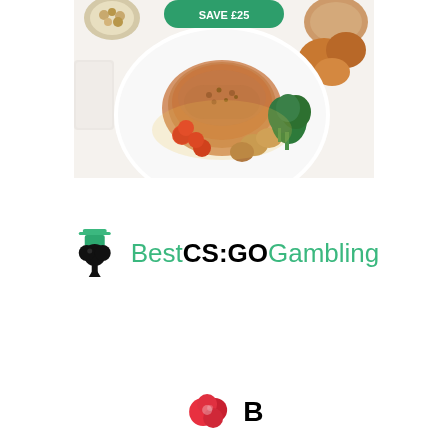[Figure (photo): Advertisement image showing a meal kit delivery promotion with 'SAVE £25' button overlay. A plated chicken dish with roasted vegetables, tomatoes, and broccoli is shown alongside bowls of nuts and seeds, and roasted potatoes on a tray.]
[Figure (logo): BestCS:GOGambling logo with a spade/club card suit icon wearing a hat on the left, and the text 'BestCS:GOGambling' where 'CS:GO' is bold black and the rest is green.]
[Figure (logo): Partially visible logo at the bottom with a red swirl/cloud icon and partial bold black text starting with 'B'.]